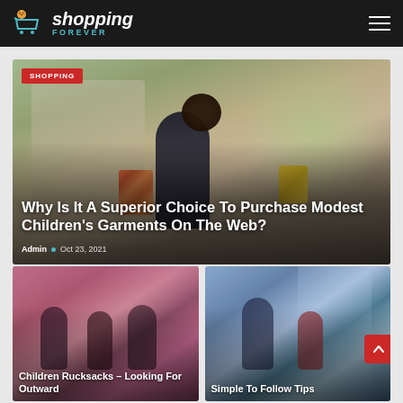Shopping Forever - navigation header
[Figure (screenshot): Website screenshot showing a shopping blog called 'Shopping Forever'. Hero image of a young girl running and holding shopping bags. Below are two smaller article card images - one showing children in a toy store, another showing a woman and child shopping.]
Why Is It A Superior Choice To Purchase Modest Children's Garments On The Web?
Admin • Oct 23, 2021
Children Rucksacks – Looking For Outward
Simple To Follow Tips